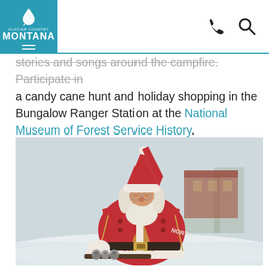[Figure (logo): Glacier Country Montana logo — white text on teal background with a teardrop/drip icon above 'GLACIER COUNTRY' and 'MONTANA' in large bold letters]
stories and songs around the campfire. Participate in a candy cane hunt and holiday shopping in the Bungalow Ranger Station at the National Museum of Forest Service History.
[Figure (photo): Santa Claus figure dressed in ornate red and gold embroidered coat with white trim and a white hat, sitting outdoors in a snowy winter landscape, looking down at bells or instruments in front of him. A red brick building is visible in the blurred background.]